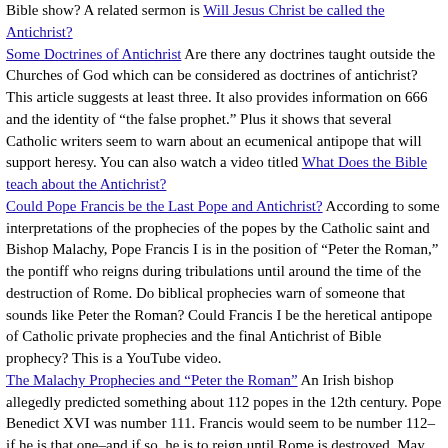Bible show? A related sermon is Will Jesus Christ be called the Antichrist? Some Doctrines of Antichrist Are there any doctrines taught outside the Churches of God which can be considered as doctrines of antichrist? This article suggests at least three. It also provides information on 666 and the identity of "the false prophet." Plus it shows that several Catholic writers seem to warn about an ecumenical antipope that will support heresy. You can also watch a video titled What Does the Bible teach about the Antichrist? Could Pope Francis be the Last Pope and Antichrist? According to some interpretations of the prophecies of the popes by the Catholic saint and Bishop Malachy, Pope Francis I is in the position of "Peter the Roman," the pontiff who reigns during tribulations until around the time of the destruction of Rome. Do biblical prophecies warn of someone that sounds like Peter the Roman? Could Francis I be the heretical antipope of Catholic private prophecies and the final Antichrist of Bible prophecy? This is a YouTube video. The Malachy Prophecies and "Peter the Roman" An Irish bishop allegedly predicted something about 112 popes in the 12th century. Pope Benedict XVI was number 111. Francis would seem to be number 112–if he is that one–and if so, he is to reign until Rome is destroyed. May he be an antipope/final Antichrist? Beliefs of the Original Catholic Church. Did the original "catholic church" have doctrines held by the Continuing Church of God? Did Church of God leaders uses the term "catholic church" to ever describe the church they were part of? Here are links to related sermons: Original Catholic Church